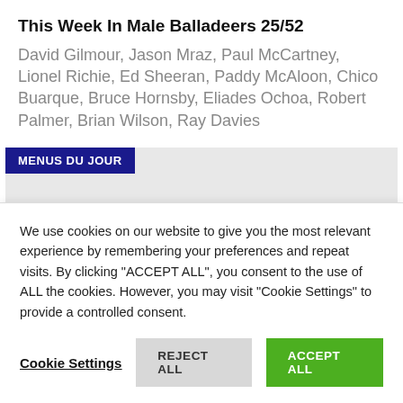This Week In Male Balladeers 25/52
David Gilmour, Jason Mraz, Paul McCartney, Lionel Richie, Ed Sheeran, Paddy McAloon, Chico Buarque, Bruce Hornsby, Eliades Ochoa, Robert Palmer, Brian Wilson, Ray Davies
MENUS DU JOUR
We use cookies on our website to give you the most relevant experience by remembering your preferences and repeat visits. By clicking "ACCEPT ALL", you consent to the use of ALL the cookies. However, you may visit "Cookie Settings" to provide a controlled consent.
Cookie Settings  REJECT ALL  ACCEPT ALL